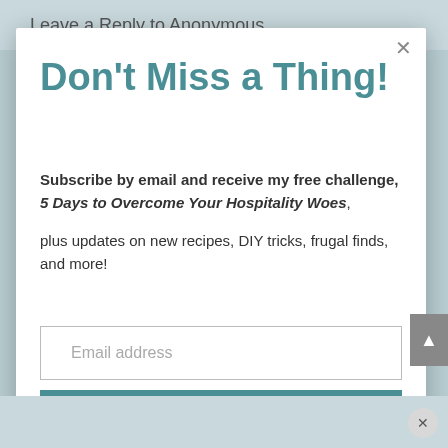Leave a Reply to Anonymous
Don't Miss a Thing!
Subscribe by email and receive my free challenge, 5 Days to Overcome Your Hospitality Woes, plus updates on new recipes, DIY tricks, frugal finds, and more!